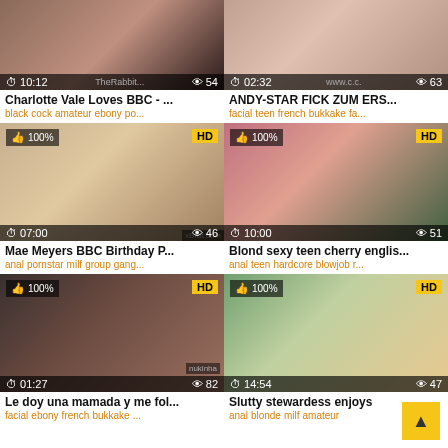[Figure (screenshot): Video thumbnail grid showing 6 adult video thumbnails in a 2-column layout with titles and tags]
Charlotte Vale Loves BBC - ...
black cock amateur ebony po...
ANDY-STAR FICK ZUM ERS...
facial teen french bukkake fa...
Mae Meyers BBC Birthday P...
anal pornstar milf group gang...
Blond sexy teen cherry englis...
anal teen hardcore blowjob r...
Le doy una mamada y me fol...
facial ebony french bukkake ...
Slutty stewardess enjoys
anal blonde milf amateur